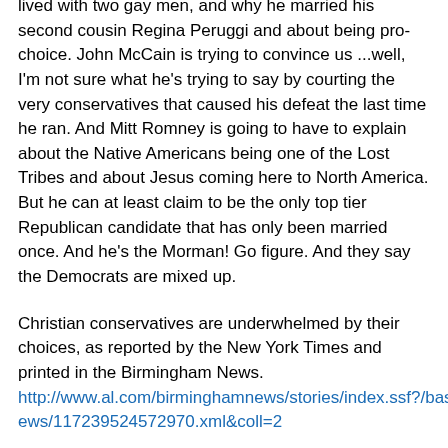lived with two gay men, and why he married his second cousin Regina Peruggi and about being pro-choice. John McCain is trying to convince us ...well, I'm not sure what he's trying to say by courting the very conservatives that caused his defeat the last time he ran. And Mitt Romney is going to have to explain about the Native Americans being one of the Lost Tribes and about Jesus coming here to North America. But he can at least claim to be the only top tier Republican candidate that has only been married once. And he's the Morman! Go figure. And they say the Democrats are mixed up.
Christian conservatives are underwhelmed by their choices, as reported by the New York Times and printed in the Birmingham News. http://www.al.com/birminghamnews/stories/index.ssf?/base/news/117239524572970.xml&coll=2
The paper says they aren't thrilled with any of the candidates, and neither am I, but for different reasons. This group includes as one of its members James Dobson of Focus on the Family. Recently he had published an opinion